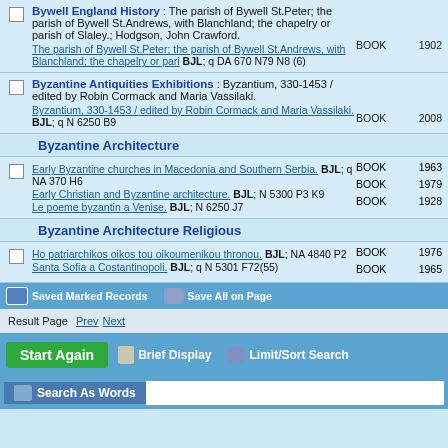Bywell England History : The parish of Bywell St.Peter; the parish of Bywell St.Andrews, with Blanchland; the chapelry or parish of Slaley.; Hodgson, John Crawford.
The parish of Bywell St.Peter; the parish of Bywell St.Andrews, with Blanchland; the chapelry or pari BJL; q DA 670 N79 N8 (6) BOOK 1902
Byzantine Antiquities Exhibitions : Byzantium, 330-1453 / edited by Robin Cormack and Maria Vassilaki.
Byzantium, 330-1453 / edited by Robin Cormack and Maria Vassilaki. BJL; q N 6250 B9 BOOK 2008
Byzantine Architecture
Early Byzantine churches in Macedonia and Southern Serbia. BJL; q NA 370 H6 BOOK 1963
Early Christian and Byzantine architecture. BJL; N 5300 P3 K9 BOOK 1979
Le poeme byzantin a Venise. BJL; N 6250 J7 BOOK 1928
Byzantine Architecture Religious
Ho patriarchikos oikos tou oikoumenikou thronou. BJL; NA 4840 P2 BOOK 1976
Santa Sofia a Costantinopoli. BJL; q N 5301 F72(55) BOOK 1965
Saved Marked Records   Save All on Page
Result Page  Prev  Next
Start Again   Brief Display   Limit/Sort Search
Search As Words